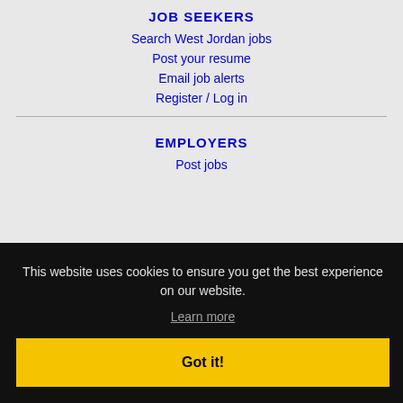JOB SEEKERS
Search West Jordan jobs
Post your resume
Email job alerts
Register / Log in
EMPLOYERS
Post jobs
This website uses cookies to ensure you get the best experience on our website.
Learn more
Got it!
Learn more